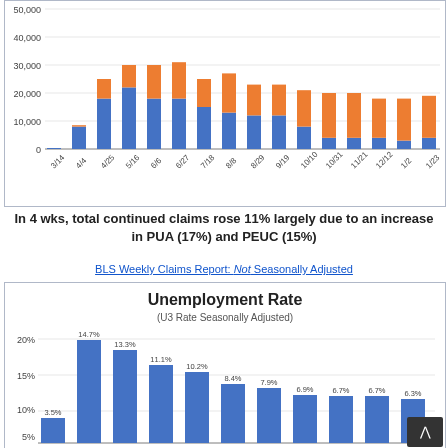[Figure (stacked-bar-chart): Weekly continued claims (stacked bar)]
In 4 wks, total continued claims rose 11% largely due to an increase in PUA (17%) and PEUC (15%)
BLS Weekly Claims Report: Not Seasonally Adjusted
[Figure (bar-chart): Unemployment Rate]